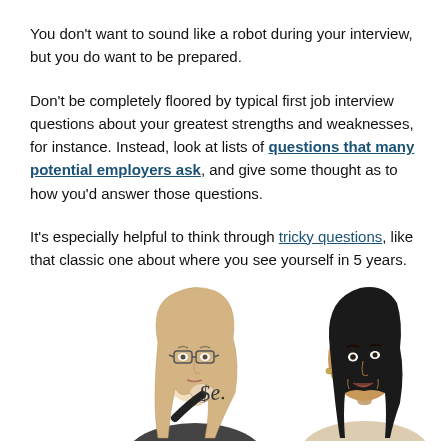You don't want to sound like a robot during your interview, but you do want to be prepared.
Don't be completely floored by typical first job interview questions about your greatest strengths and weaknesses, for instance. Instead, look at lists of questions that many potential employers ask, and give some thought as to how you'd answer those questions.
It's especially helpful to think through tricky questions, like that classic one about where you see yourself in 5 years.
[Figure (illustration): Two illustrated women facing each other in a job interview scenario. Left figure is a blonde woman with glasses looking thoughtful, right figure is a dark-haired woman speaking. Between them is a small decorative text/symbol element.]